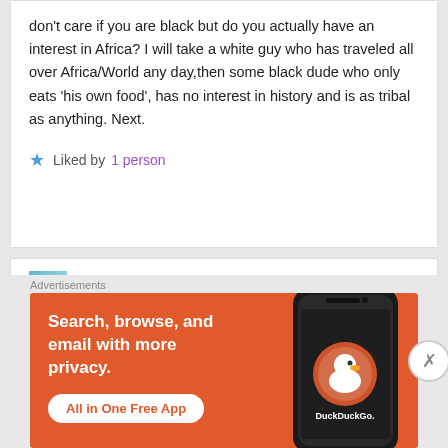don't care if you are black but do you actually have an interest in Africa? I will take a white guy who has traveled all over Africa/World any day,then some black dude who only eats ‘his own food’, has no interest in history and is as tribal as anything. Next.
Liked by 1 person
blackwomenexperience
May 4, 2014 at 20:47
I concur with you: there is nothing better to me than a
Advertisements
[Figure (screenshot): DuckDuckGo advertisement banner with orange background. Text reads 'Search, browse, and email with more privacy. All in One Free App'. Shows a smartphone with DuckDuckGo logo.]